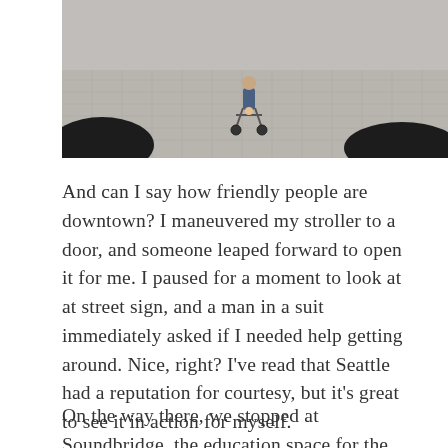[Figure (photo): Outdoor photo of a person with a stroller/wheelchair on a tiled plaza. Two large dark sculptural objects are visible on either side. The ground has a grid-tile pattern.]
And can I say how friendly people are downtown?  I maneuvered my stroller to a door, and someone leaped forward to open it for me.  I paused for a moment to look at at street sign, and a man in a suit immediately asked if I needed help getting around.  Nice, right?  I've read that Seattle had a reputation for courtesy, but it's great to see it in action for myself.
On the way there, we stopped at Soundbridge, the education space for the Seattle Symphony,